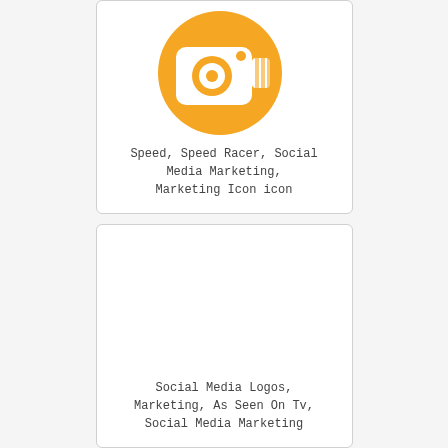[Figure (illustration): Orange circle icon with a white speed camera / video camera silhouette, on a white card background]
Speed, Speed Racer, Social Media Marketing, Marketing Icon icon
[Figure (illustration): White/blank card with no visible icon — placeholder for a social media logos / marketing image]
Social Media Logos, Marketing, As Seen On Tv, Social Media Marketing